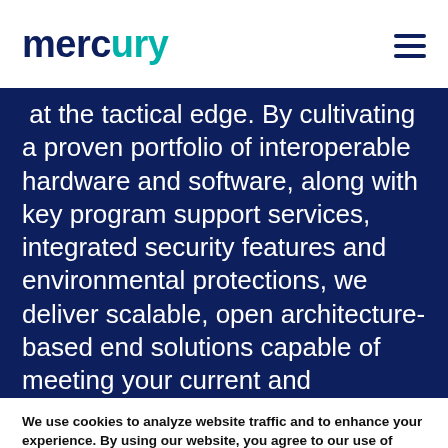mercury
at the tactical edge. By cultivating a proven portfolio of interoperable hardware and software, along with key program support services, integrated security features and environmental protections, we deliver scalable, open architecture-based end solutions capable of meeting your current and
We use cookies to analyze website traffic and to enhance your experience. By using our website, you agree to our use of cookies. Visit our privacy policy page to learn more.
ACCEPT COOKIES